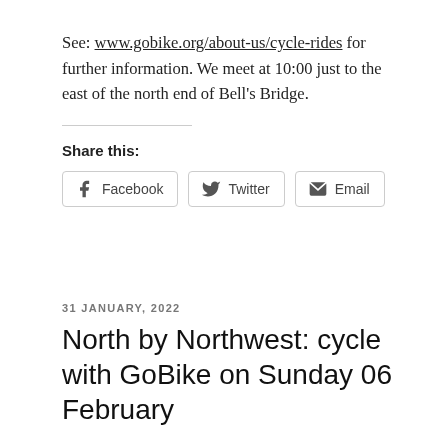See: www.gobike.org/about-us/cycle-rides for further information. We meet at 10:00 just to the east of the north end of Bell's Bridge.
Share this:
Facebook   Twitter   Email
31 JANUARY, 2022
North by Northwest: cycle with GoBike on Sunday 06 February